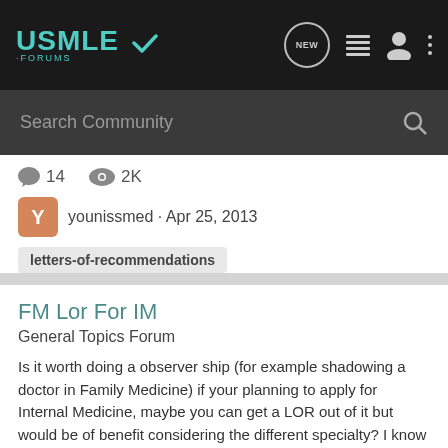USMLE FORUMS - Navigation bar with NEW, list, user, and menu icons
Search Community
14 replies · 2K views · younissmed · Apr 25, 2013
letters-of-recommendations
FM Lor For IM
General Topics Forum
Is it worth doing a observer ship (for example shadowing a doctor in Family Medicine) if your planning to apply for Internal Medicine, maybe you can get a LOR out of it but would be of benefit considering the different specialty? I know its better than nothing but would you consider it worth...
1 · 6K